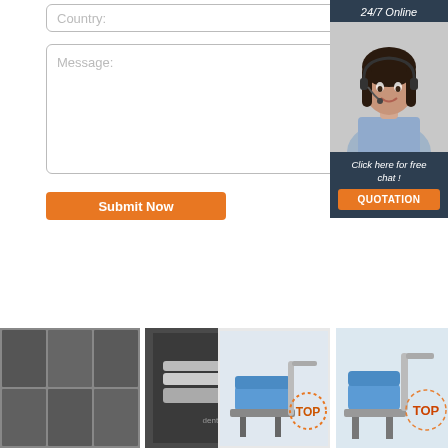[Figure (screenshot): Country input field with placeholder text 'Country:']
[Figure (screenshot): Message textarea with placeholder text 'Message:']
[Figure (screenshot): Orange 'Submit Now' button]
[Figure (infographic): 24/7 Online chat widget with dark blue background, female customer service representative with headset, 'Click here for free chat!' text, and orange QUOTATION button]
[Figure (photo): Grid of 6 black and white dental X-ray images]
[Figure (photo): Photo of dental handpiece tools in a case]
[Figure (photo): Dental chair unit with blue upholstery and equipment, with TOP logo overlay]